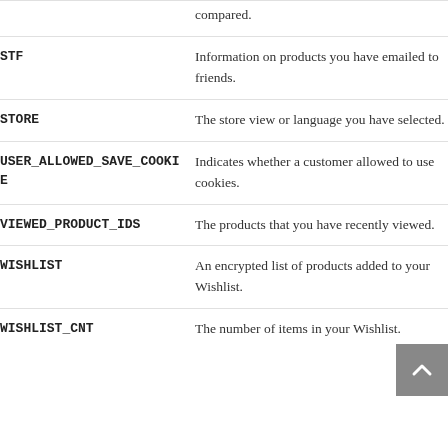compared.
STF — Information on products you have emailed to friends.
STORE — The store view or language you have selected.
USER_ALLOWED_SAVE_COOKIE — Indicates whether a customer allowed to use cookies.
VIEWED_PRODUCT_IDS — The products that you have recently viewed.
WISHLIST — An encrypted list of products added to your Wishlist.
WISHLIST_CNT — The number of items in your Wishlist.